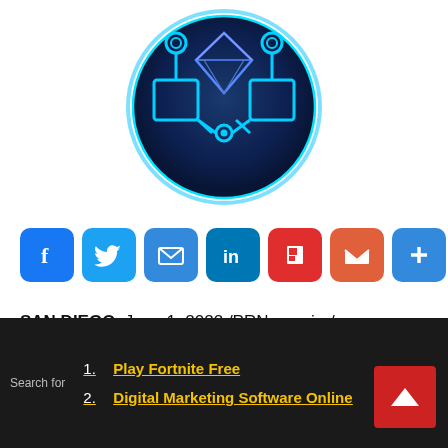[Figure (logo): Circular dark blue badge with cyan/blue network/blockchain icon showing connected nodes and squares, with a glowing cyan border]
[Figure (infographic): Social sharing buttons row: Facebook (blue), Twitter (blue), Email (blue), LinkedIn (blue), Flipboard (red), Gmail (red-orange), More/Plus (blue)]
SAN DIEGO, June 1, 2022 /PRNewswire/ —
Search for
1. Play Fortnite Free
2. Digital Marketing Software Online